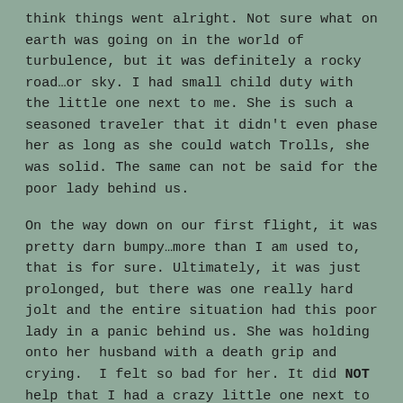think things went alright. Not sure what on earth was going on in the world of turbulence, but it was definitely a rocky road…or sky. I had small child duty with the little one next to me. She is such a seasoned traveler that it didn't even phase her as long as she could watch Trolls, she was solid. The same can not be said for the poor lady behind us.

On the way down on our first flight, it was pretty darn bumpy…more than I am used to, that is for sure. Ultimately, it was just prolonged, but there was one really hard jolt and the entire situation had this poor lady in a panic behind us. She was holding onto her husband with a death grip and crying.  I felt so bad for her. It did NOT help that I had a crazy little one next to me that thought the entire thing was